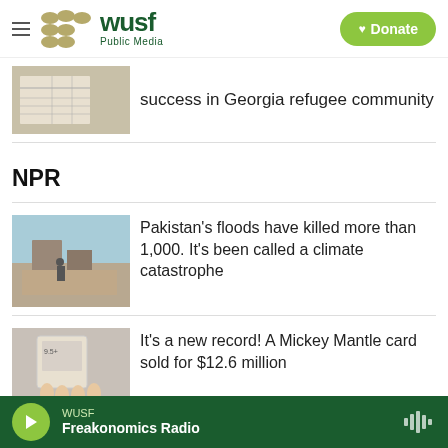WUSF Public Media | Donate
success in Georgia refugee community
NPR
Pakistan's floods have killed more than 1,000. It's been called a climate catastrophe
It's a new record! A Mickey Mantle card sold for $12.6 million
WUSF Freakonomics Radio